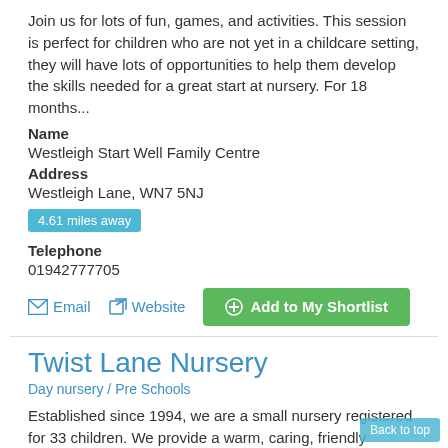Join us for lots of fun, games, and activities. This session is perfect for children who are not yet in a childcare setting, they will have lots of opportunities to help them develop the skills needed for a great start at nursery. For 18 months...
Name
Westleigh Start Well Family Centre
Address
Westleigh Lane, WN7 5NJ
4.61 miles away
Telephone
01942777705
Email
Website
Add to My Shortlist
Twist Lane Nursery
Day nursery / Pre Schools
Established since 1994, we are a small nursery registered for 33 children. We provide a warm, caring, friendly environment with 2 large outdoor play areas. A dedicated team of experienced qualified staff provide individual care for their own key groups of children. All snacks and...